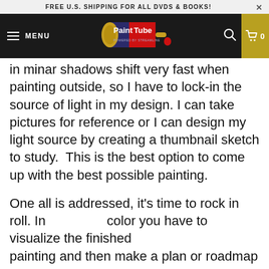FREE U.S. SHIPPING FOR ALL DVDS & BOOKS!
[Figure (logo): PaintTube logo on dark navigation bar with hamburger menu, search icon, and cart]
in minar shadows shift very fast when painting outside, so I have to lock-in the source of light in my design. I can take pictures for reference or I can design my light source by creating a thumbnail sketch to study.  This is the best option to come up with the best possible painting.
One all is addressed, it's time to rock in roll. In color you have to visualize the finished painting and then make a plan or roadmap on how to execute the process. Why? Because as